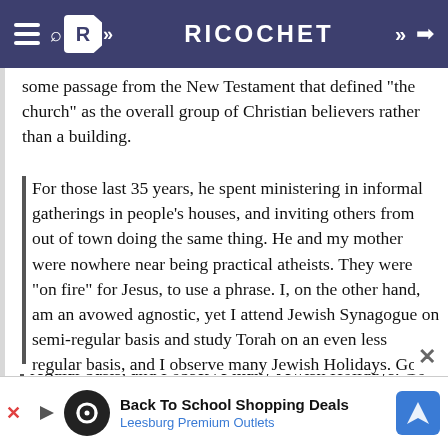RICOCHET
some passage from the New Testament that defined “the church” as the overall group of Christian believers rather than a building.

For those last 35 years, he spent ministering in informal gatherings in people’s houses, and inviting others from out of town doing the same thing. He and my mother were nowhere near being practical atheists. They were “on fire” for Jesus, to use a phrase. I, on the other hand, am an avowed agnostic, yet I attend Jewish Synagogue on semi-regular basis and study Torah on an even less regular basis, and I observe many Jewish Holidays. Go figure!
Let me clarify what I’m agreeing with concerning practical atheism.
Firstly, I don’t know the status of a man’s heart. But I have always acknowledged that there were people
[Figure (other): Advertisement banner: Back To School Shopping Deals - Leesburg Premium Outlets]